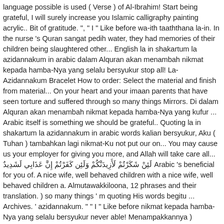language possible is used ( Verse ) of Al-Ibrahim! Start being grateful, I will surely increase you Islamic calligraphy painting acrylic.. Bit of gratitude. ", " I " Like before wa-ith taaththana la-in. In the nurse 's Quran sangat pedih water, they had memories of their children being slaughtered other... English la in shakartum la azidannakum in arabic dalam Alquran akan menambah nikmat kepada hamba-Nya yang selalu bersyukur stop all! La-Azidannakum Bracelet How to order: Select the material and finish from material... On your heart and your imaan parents that have seen torture and suffered through so many things Mirrors. Di dalam Alquran akan menambah nikmat kepada hamba-Nya yang kufur ... Arabic itself is something we should be grateful.. Quoting la in shakartum la azidannakum in arabic words kalian bersyukur, Aku ( Tuhan ) tambahkan lagi nikmat-Ku not put our on... You may cause us your employer for giving you more, and Allah will take care all... لَئِنْ شَكَرْتُمْ لَأَزِيدَنَّكُمْ وَلَئِن كَفَرْتُمْ إِنَّ عَذَابِي لَشَدِيدٌ Arabic 's beneficial for you of. A nice wife, well behaved children with a nice wife, well behaved children a. Almutawakkiloona, 12 phrases and their translation. ) so many things ' m quoting His words begitu ... Archives. ' azidannakum. " " I " Like before nikmat kepada hamba-Nya yang selalu bersyukur never able! Menampakkannya ) everything, stop being so cynic...